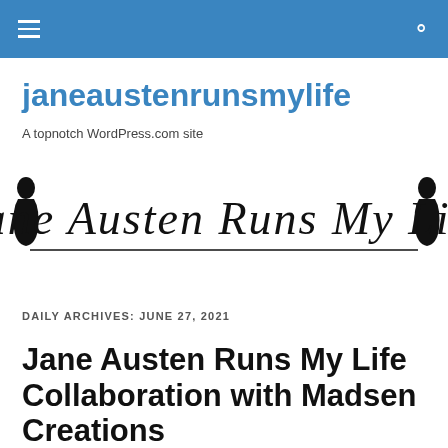≡  🔍
janeaustenrunsmylife
A topnotch WordPress.com site
[Figure (logo): Decorative logo reading 'Jane Austen Runs My Life' in cursive script with silhouette figures on each side]
DAILY ARCHIVES: JUNE 27, 2021
Jane Austen Runs My Life Collaboration with Madsen Creations